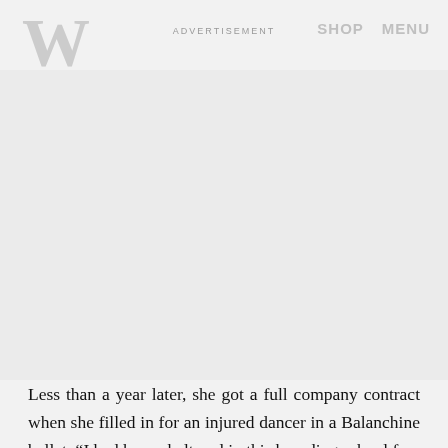W  ADVERTISEMENT  SHOP  MENU
[Figure (other): Advertisement placeholder area (light gray background)]
Less than a year later, she got a full company contract when she filled in for an injured dancer in a Balanchine ballet. “I had been sheltered in this boarding school for